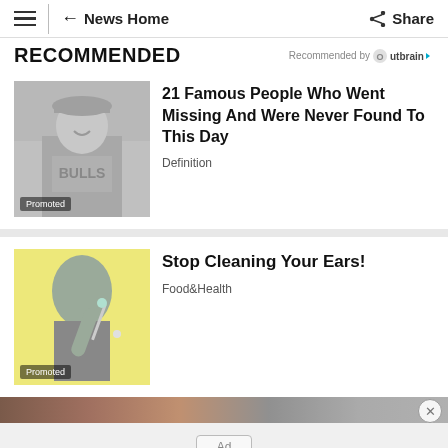≡ | ← News Home  Share
RECOMMENDED
Recommended by Outbrain
[Figure (photo): Grayscale photo of a person wearing a Bulls basketball jersey, smiling. 'Promoted' badge overlay at bottom left.]
21 Famous People Who Went Missing And Were Never Found To This Day
Definition
[Figure (illustration): Yellow-background illustration of a person cleaning their ear with a cotton swab. 'Promoted' badge overlay at bottom left.]
Stop Cleaning Your Ears!
Food&Health
[Figure (photo): Partially visible image strip at bottom of page, showing a close-up photo.]
Ad